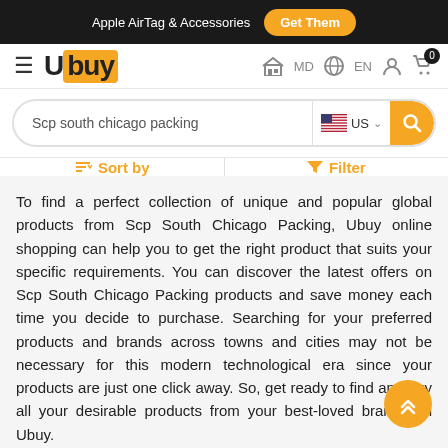Apple AirTag & Accessories  Get Them
Ubuy  MD  EN
Scp south chicago packing  US
Sort by  Filter
To find a perfect collection of unique and popular global products from Scp South Chicago Packing, Ubuy online shopping can help you to get the right product that suits your specific requirements. You can discover the latest offers on Scp South Chicago Packing products and save money each time you decide to purchase. Searching for your preferred products and brands across towns and cities may not be necessary for this modern technological era since your products are just one click away. So, get ready to find and buy all your desirable products from your best-loved brands on Ubuy.